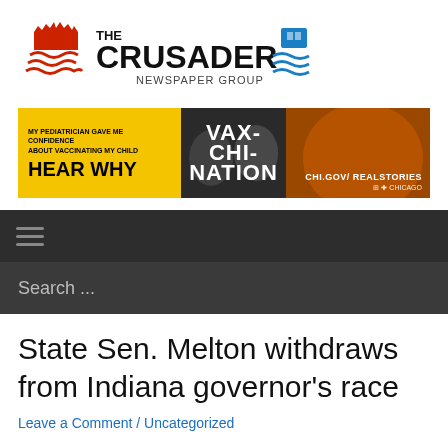[Figure (logo): The Crusader Newspaper Group logo with red city/flame icon on left and blue wave icon on right]
[Figure (photo): Advertisement banner: 'My pediatrician gave me confidence about vaccinating my child. Hear Why. VAX-CHI-NATION. CHI.GOV/REALSTORIES. Chicago' - yellow, dark and orange sections with two smiling women]
[Figure (infographic): Dark navigation bar with hamburger menu icon (three horizontal lines)]
[Figure (screenshot): Dark search bar with 'Search ...' placeholder text]
State Sen. Melton withdraws from Indiana governor’s race
Leave a Comment / Uncategorized